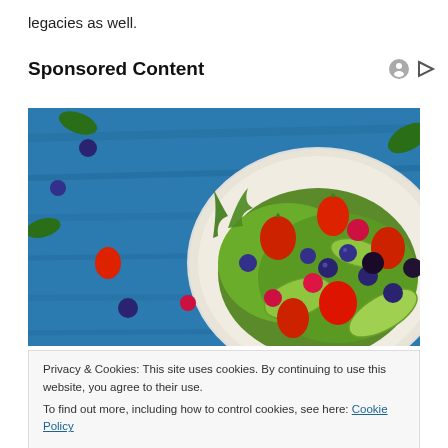legacies as well.
Sponsored Content
[Figure (photo): A bowl of fresh salad with strawberries, blueberries, raspberries, blackberries, avocado slices, and mixed greens on a blue wooden background.]
Privacy & Cookies: This site uses cookies. By continuing to use this website, you agree to their use.
To find out more, including how to control cookies, see here: Cookie Policy